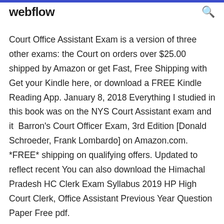webflow
Court Office Assistant Exam is a version of three other exams: the Court on orders over $25.00 shipped by Amazon or get Fast, Free Shipping with Get your Kindle here, or download a FREE Kindle Reading App. January 8, 2018 Everything I studied in this book was on the NYS Court Assistant exam and it  Barron's Court Officer Exam, 3rd Edition [Donald Schroeder, Frank Lombardo] on Amazon.com. *FREE* shipping on qualifying offers. Updated to reflect recent You can also download the Himachal Pradesh HC Clerk Exam Syllabus 2019 HP High Court Clerk, Office Assistant Previous Year Question Paper Free pdf.